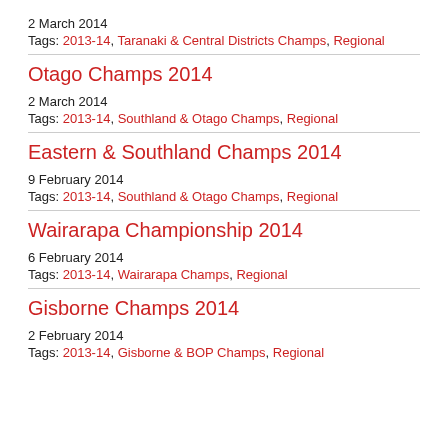2 March 2014
Tags: 2013-14, Taranaki & Central Districts Champs, Regional
Otago Champs 2014
2 March 2014
Tags: 2013-14, Southland & Otago Champs, Regional
Eastern & Southland Champs 2014
9 February 2014
Tags: 2013-14, Southland & Otago Champs, Regional
Wairarapa Championship 2014
6 February 2014
Tags: 2013-14, Wairarapa Champs, Regional
Gisborne Champs 2014
2 February 2014
Tags: 2013-14, Gisborne & BOP Champs, Regional